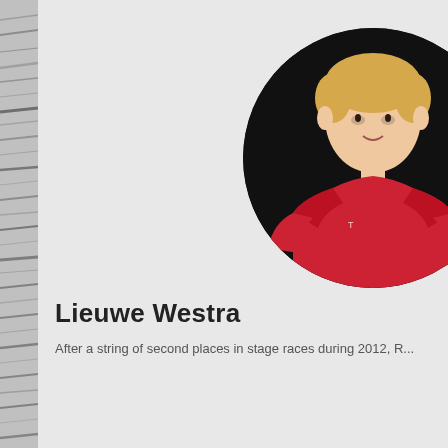[Figure (photo): Circular portrait photo of cyclist Lieuwe Westra wearing a red cycling jersey, photographed against a dark/black background. Only the upper body and head are visible.]
Lieuwe Westra
After a string of second places in stage races during 2012, R...